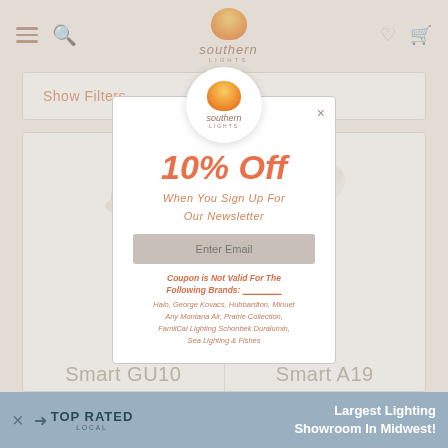Southern Lights - navigation bar with hamburger menu, search, logo, heart and cart icons
Show Filters ∨
[Figure (screenshot): Newsletter popup with Southern Lights logo, 10% Off discount offer, email input, and coupon restrictions]
Smart GU10 RGB+CCT Light Bulb (776... RLRGL...
Smart A19 RGB+CCT Light
[Figure (logo): Top Rated Local banner at bottom with Southern Lights branding and Largest Lighting Showroom In Midwest text]